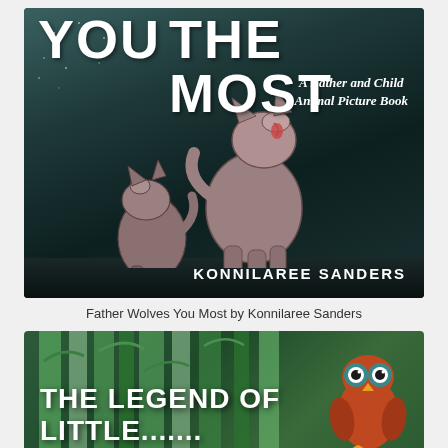[Figure (illustration): Book cover of 'You The Most: A Father and Child Animal Picture Book' by Konnilaree Sanders. Dark teal/green night sky background with stars, showing two wolves (adult and pup) howling at the moon. Large bold white text at top reads 'YOU THE MOST'. Subtitle 'A Father and Child Animal Picture Book' in italic. Author name 'KONNILAREE SANDERS' at bottom right.]
Father Wolves You Most by Konnilaree Sanders
[Figure (illustration): Partial book cover of 'The Legend of Little...' showing a forest background with green bamboo/plant stalks and a cartoon owl with orange body and teal eye-ring design on the right side. White bold text reads 'THE LEGEND OF' and 'LITTLE.....' with more text cut off at bottom.]